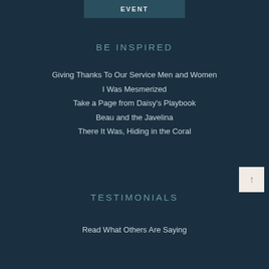[Figure (illustration): Partial book or event cover image showing the word EVENT in light letters on a teal/blue background]
BE INSPIRED
Giving Thanks To Our Service Men and Women
I Was Mesmerized
Take a Page from Daisy's Playbook
Beau and the Javelina
There It Was, Hiding in the Coral
TESTIMONIALS
Read What Others Are Saying